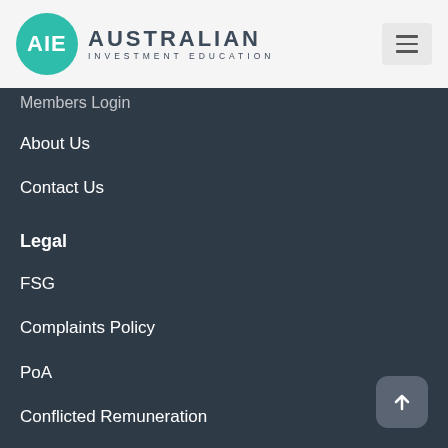[Figure (logo): Australian Investment Education logo with teal circular AIE emblem and text]
Members Login
About Us
Contact Us
Legal
FSG
Complaints Policy
PoA
Conflicted Remuneration
Privacy Policy
Terms